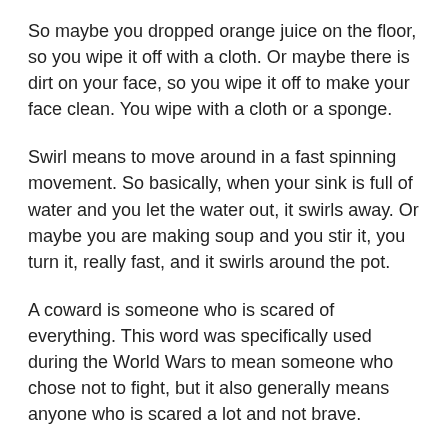So maybe you dropped orange juice on the floor, so you wipe it off with a cloth. Or maybe there is dirt on your face, so you wipe it off to make your face clean. You wipe with a cloth or a sponge.
Swirl means to move around in a fast spinning movement. So basically, when your sink is full of water and you let the water out, it swirls away. Or maybe you are making soup and you stir it, you turn it, really fast, and it swirls around the pot.
A coward is someone who is scared of everything. This word was specifically used during the World Wars to mean someone who chose not to fight, but it also generally means anyone who is scared a lot and not brave.
A grave is the place you put a body when someone dies. Graves are usually a hole in the ground, and you put a